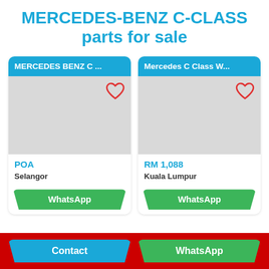MERCEDES-BENZ C-CLASS parts for sale
[Figure (screenshot): Product listing card for MERCEDES BENZ C ... with gray image placeholder, heart icon, price POA, location Selangor, WhatsApp button]
[Figure (screenshot): Product listing card for Mercedes C Class W... with gray image placeholder, heart icon, price RM 1,088, location Kuala Lumpur, WhatsApp button]
Contact
WhatsApp